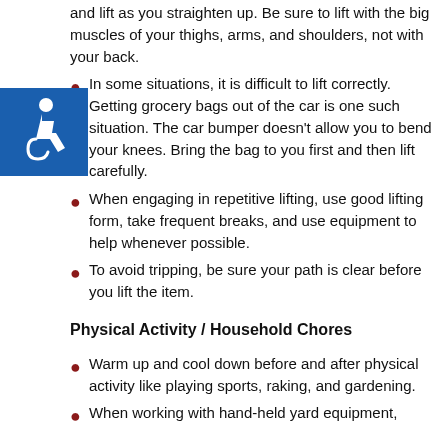and lift as you straighten up. Be sure to lift with the big muscles of your thighs, arms, and shoulders, not with your back.
[Figure (illustration): Blue square accessibility icon with white wheelchair symbol]
In some situations, it is difficult to lift correctly. Getting grocery bags out of the car is one such situation. The car bumper doesn't allow you to bend your knees. Bring the bag to you first and then lift carefully.
When engaging in repetitive lifting, use good lifting form, take frequent breaks, and use equipment to help whenever possible.
To avoid tripping, be sure your path is clear before you lift the item.
Physical Activity / Household Chores
Warm up and cool down before and after physical activity like playing sports, raking, and gardening.
When working with hand-held yard equipment,